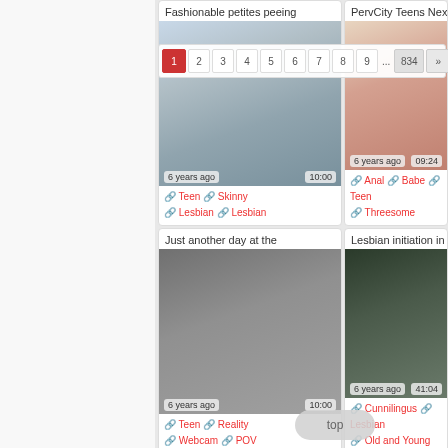Pagination: 1 2 3 4 5 6 7 8 9 ... 834 »
Fashionable petites peeing
[Figure (photo): Two women sitting on a couch]
🔗 Teen 🔗 Skinny 🔗 Lesbian 🔗 Lesbian
PervCity Teens Next Door
[Figure (photo): Close-up photo]
🔗 Anal 🔗 Babe 🔗 Teen 🔗 Threesome
Just another day at the
[Figure (photo): Woman in uniform smiling]
🔗 Teen 🔗 Reality 🔗 Webcam 🔗 POV
Lesbian initiation in sofa
[Figure (photo): Women on a sofa]
🔗 Cunnilingus 🔗 Lesbian 🔗 Old and Young
No one but you scene 1
[Figure (photo): Partially visible video thumbnail]
Young beautiful Latina Josie
[Figure (photo): Partially visible video thumbnail]